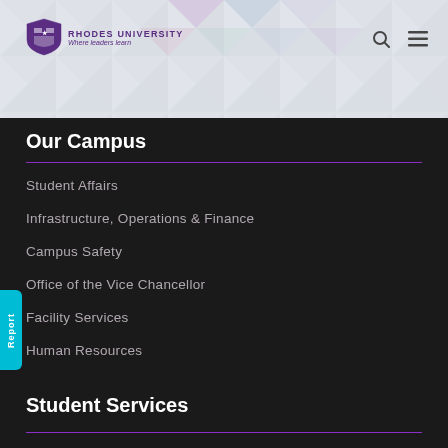[Figure (logo): Rhodes University shield logo with text 'RHODES UNIVERSITY Where leaders learn']
Our Campus
Student Affairs
Infrastructure, Operations & Finance
Campus Safety
Office of the Vice Chancellor
Facility Services
Human Resources
Student Services